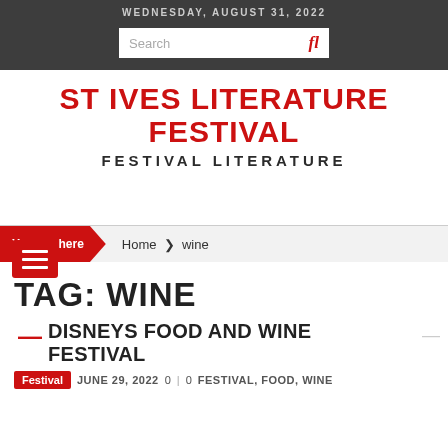WEDNESDAY, AUGUST 31, 2022
ST IVES LITERATURE FESTIVAL
FESTIVAL LITERATURE
[Figure (other): Hamburger menu icon button (red background, three white horizontal lines)]
You are here  Home  ❯  wine
TAG: WINE
DISNEYS FOOD AND WINE FESTIVAL
Festival  JUNE 29, 2022  0  |  0  FESTIVAL, FOOD, WINE